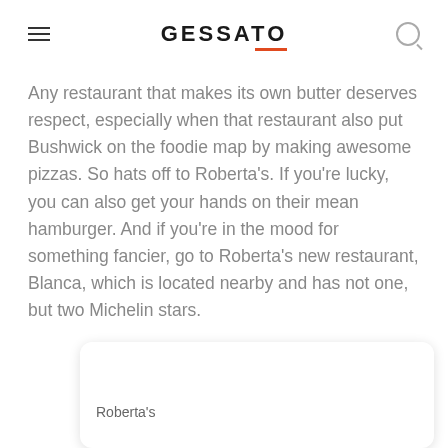GESSATO
Any restaurant that makes its own butter deserves respect, especially when that restaurant also put Bushwick on the foodie map by making awesome pizzas. So hats off to Roberta's. If you're lucky, you can also get your hands on their mean hamburger. And if you're in the mood for something fancier, go to Roberta's new restaurant, Blanca, which is located nearby and has not one, but two Michelin stars.
Roberta's